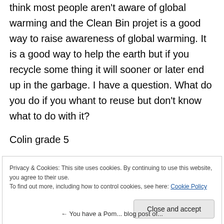think most people aren't aware of global warming and the Clean Bin projet is a good way to raise awareness of global warming. It is a good way to help the earth but if you recycle some thing it will sooner or later end up in the garbage. I have a question. What do you do if you whant to reuse but don't know what to do with it?
Colin grade 5
Privacy & Cookies: This site uses cookies. By continuing to use this website, you agree to their use.
To find out more, including how to control cookies, see here: Cookie Policy
Close and accept